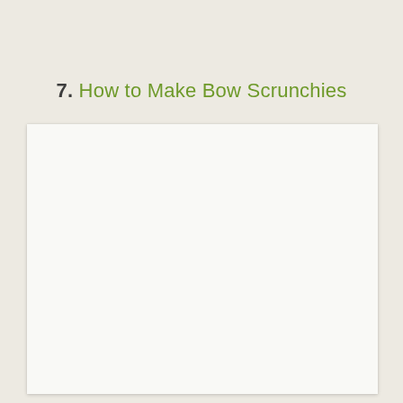7. How to Make Bow Scrunchies
[Figure (other): White blank content area/page placeholder below the section header]